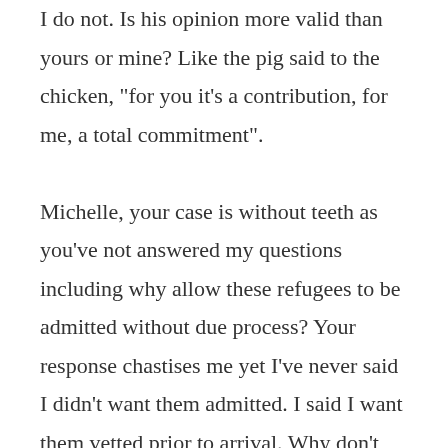I do not. Is his opinion more valid than yours or mine? Like the pig said to the chicken, "for you it's a contribution, for me, a total commitment".

Michelle, your case is without teeth as you've not answered my questions including why allow these refugees to be admitted without due process? Your response chastises me yet I've never said I didn't want them admitted. I said I want them vetted prior to arrival. Why don't